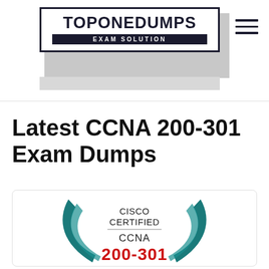TOPONEDUMPS EXAM SOLUTION
Latest CCNA 200-301 Exam Dumps
[Figure (logo): Cisco Certified CCNA 200-301 badge logo with teal wing swooshes and red number text at bottom]